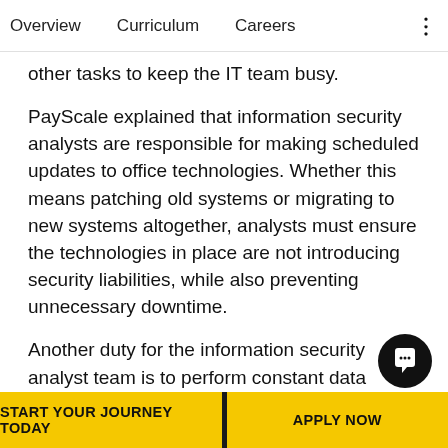Overview    Curriculum    Careers
other tasks to keep the IT team busy.
PayScale explained that information security analysts are responsible for making scheduled updates to office technologies. Whether this means patching old systems or migrating to new systems altogether, analysts must ensure the technologies in place are not introducing security liabilities, while also preventing unnecessary downtime.
Another duty for the information security analyst team is to perform constant data analysis, reviewing the performance of the company's security tools and making strategic improvements. Even the best syst… can have vulnerabilities, so analysts must be unafra… to … that … every p… …
START YOUR JOURNEY TODAY    APPLY NOW